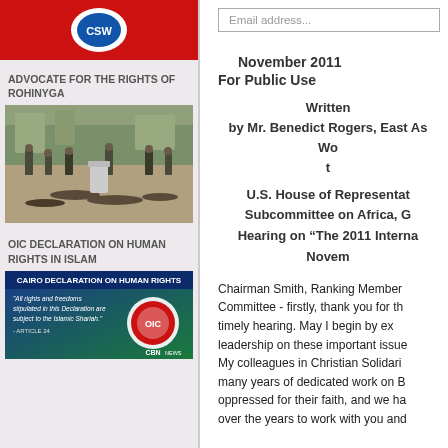[Figure (logo): Red banner/logo at top of left sidebar]
ADVOCATE FOR THE RIGHTS OF ROHINYGA
[Figure (photo): Photo of soldiers and people on the ground in an outdoor scene]
OIC DECLARATION ON HUMAN RIGHTS IN ISLAM
[Figure (screenshot): Cairo Declaration on Human Rights in Islam graphic with OIC logo, CBN News watermark. Quote: 'All rights and freedoms stipulated in this Declaration are subject to the Islamic Shariah.' - ARTICLE 24]
Email address...
November 2011
For Public Use
Written by Mr. Benedict Rogers, East As... Wo... t...
U.S. House of Representa... Subcommittee on Africa, G... Hearing on “The 2011 Interna... Novem...
Chairman Smith, Ranking Member... Committee - firstly, thank you for th... timely hearing. May I begin by ex... leadership on these important issue... My colleagues in Christian Solidari... many years of dedicated work on... oppressed for their faith, and we ha... over the years to work with you and...